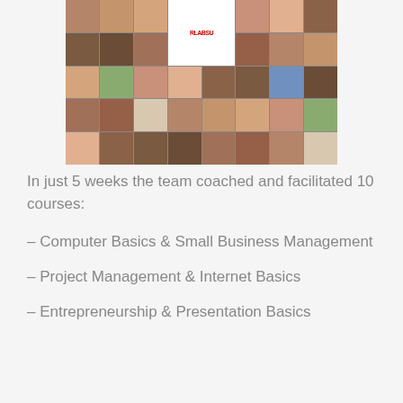[Figure (photo): A collage of many people's faces/photos with a RLABSU logo in the center top area]
In just 5 weeks the team coached and facilitated 10 courses:
– Computer Basics & Small Business Management
– Project Management & Internet Basics
– Entrepreneurship & Presentation Basics